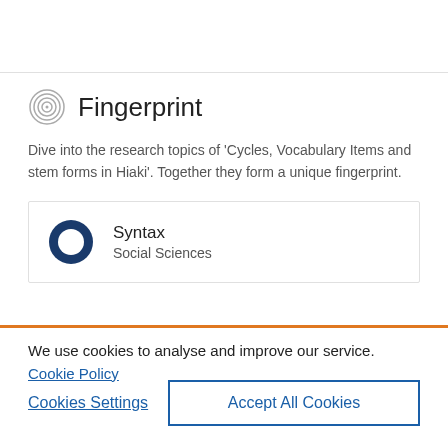Fingerprint
Dive into the research topics of 'Cycles, Vocabulary Items and stem forms in Hiaki'. Together they form a unique fingerprint.
[Figure (infographic): Donut chart showing 100% Syntax, Social Sciences]
We use cookies to analyse and improve our service. Cookie Policy
Cookies Settings
Accept All Cookies